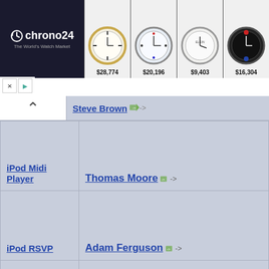[Figure (screenshot): Chrono24 watch advertisement banner showing logo and 4 watch listings with prices: $28,774, $20,196, $9,403, $16,304]
| App/Product | Author |
| --- | --- |
| rs (partial) | Steve Brown -> |
| iPod Midi Player | Thomas Moore -> |
| iPod RSVP | Adam Ferguson -> |
| iPod to iPod | Jeremy Whelchel -> |
| iPodRacer | Terry Stenvold and Armon Khosravi -> |